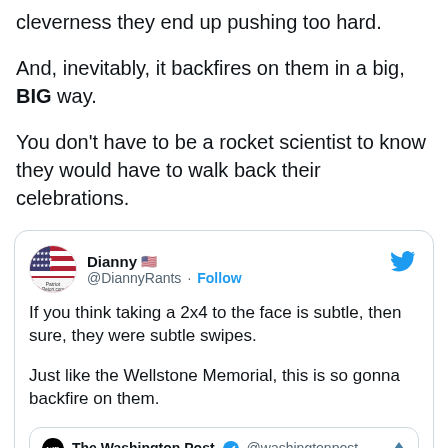cleverness they end up pushing too hard.
And, inevitably, it backfires on them in a big, BIG way.
You don't have to be a rocket scientist to know they would have to walk back their celebrations.
[Figure (screenshot): Embedded tweet from @DiannyRants (Dianny, Patriot Retort.com) with text: 'If you think taking a 2x4 to the face is subtle, then sure, they were subtle swipes. Just like the Wellstone Memorial, this is so gonna backfire on them.' with a nested Washington Post tweet card showing @washingtonpost handle.]